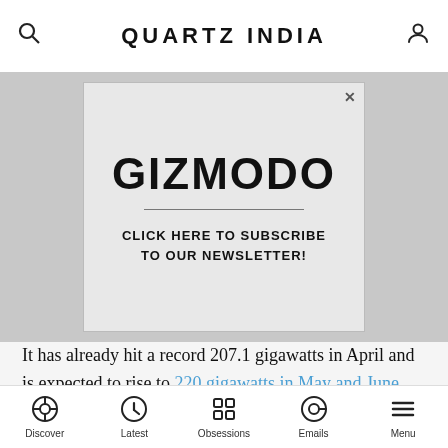QUARTZ INDIA
[Figure (other): Advertisement banner for Gizmodo newsletter subscription. White/light grey background with diagonal stripe pattern. Large bold GIZMODO text, a horizontal divider line, and text reading CLICK HERE TO SUBSCRIBE TO OUR NEWSLETTER!]
It has already hit a record 207.1 gigawatts in April and is expected to rise to 220 gigawatts in May and June, according to India's power ministry.
Discover | Latest | Obsessions | Emails | Menu